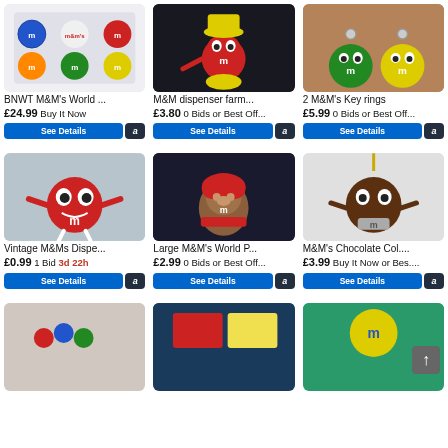[Figure (screenshot): eBay product listing grid showing M&M merchandise items for sale]
BNWT M&M's World ...
£24.99 Buy It Now
M&M dispenser farm...
£3.80 0 Bids or Best Off...
2 M&M's Key rings
£5.99 0 Bids or Best Off...
Vintage M&Ms Dispe...
£0.99 1 Bid 3d 22h
Large M&M's World P...
£2.99 0 Bids or Best Off...
M&M's Chocolate Col....
£3.99 Buy It Now or Bes....